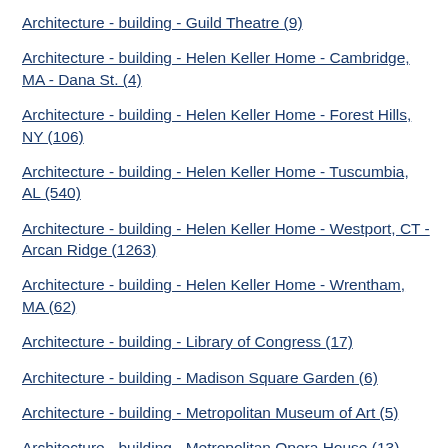Architecture - building - Guild Theatre (9)
Architecture - building - Helen Keller Home - Cambridge, MA - Dana St. (4)
Architecture - building - Helen Keller Home - Forest Hills, NY (106)
Architecture - building - Helen Keller Home - Tuscumbia, AL (540)
Architecture - building - Helen Keller Home - Westport, CT - Arcan Ridge (1263)
Architecture - building - Helen Keller Home - Wrentham, MA (62)
Architecture - building - Library of Congress (17)
Architecture - building - Madison Square Garden (6)
Architecture - building - Metropolitan Museum of Art (5)
Architecture - building - Metropolitan Opera House (13)